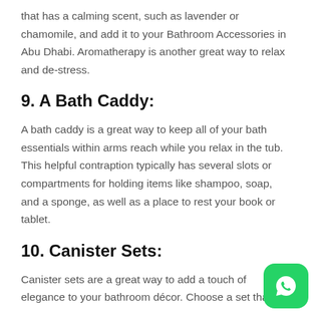that has a calming scent, such as lavender or chamomile, and add it to your Bathroom Accessories in Abu Dhabi. Aromatherapy is another great way to relax and de-stress.
9. A Bath Caddy:
A bath caddy is a great way to keep all of your bath essentials within arms reach while you relax in the tub. This helpful contraption typically has several slots or compartments for holding items like shampoo, soap, and a sponge, as well as a place to rest your book or tablet.
10. Canister Sets:
Canister sets are a great way to add a touch of elegance to your bathroom décor. Choose a set that
[Figure (logo): WhatsApp icon button, green rounded square with white phone handset icon]